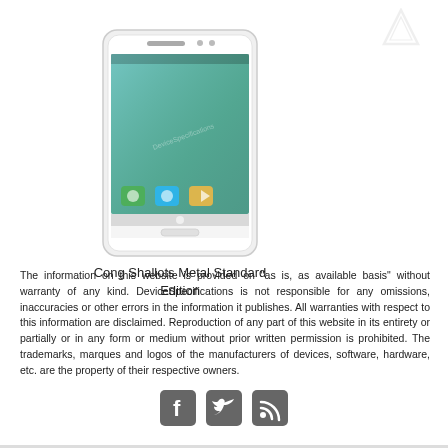[Figure (photo): Smartphone (Cong Shallots Metal Standard Edition) rendered as a front-facing device image with Android home screen showing app icons]
Cong Shallots Metal Standard Edition
The information on this website is provided on "as is, as available basis" without warranty of any kind. DeviceSpecifications is not responsible for any omissions, inaccuracies or other errors in the information it publishes. All warranties with respect to this information are disclaimed. Reproduction of any part of this website in its entirety or partially or in any form or medium without prior written permission is prohibited. The trademarks, marques and logos of the manufacturers of devices, software, hardware, etc. are the property of their respective owners.
[Figure (logo): Social media icons: Facebook, Twitter, RSS feed]